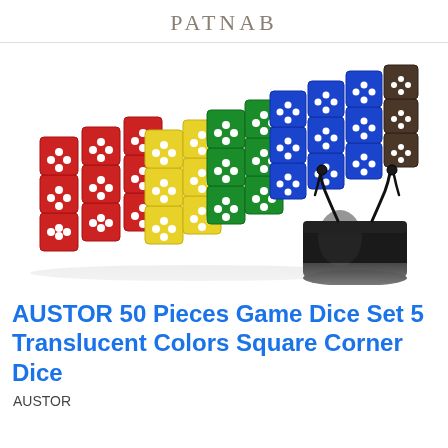PATNAB
[Figure (photo): Photo of a set of 50 translucent game dice arranged in colorful rows (red, yellow, green, blue, black/brown) with white dots, alongside a black drawstring pouch, on a white background.]
AUSTOR 50 Pieces Game Dice Set 5 Translucent Colors Square Corner Dice
AUSTOR